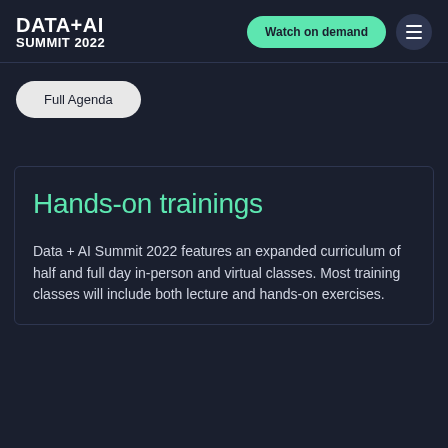DATA+AI SUMMIT 2022
Watch on demand
Full Agenda
Hands-on trainings
Data + AI Summit 2022 features an expanded curriculum of half and full day in-person and virtual classes. Most training classes will include both lecture and hands-on exercises.